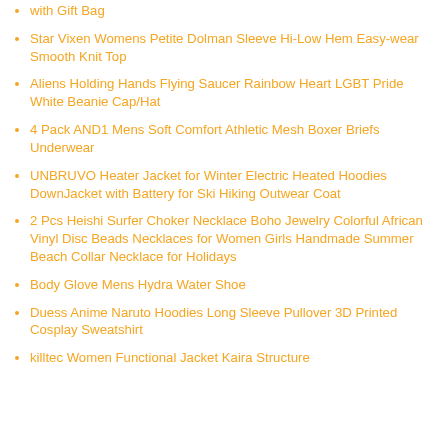with Gift Bag
Star Vixen Womens Petite Dolman Sleeve Hi-Low Hem Easy-wear Smooth Knit Top
Aliens Holding Hands Flying Saucer Rainbow Heart LGBT Pride White Beanie Cap/Hat
4 Pack AND1 Mens Soft Comfort Athletic Mesh Boxer Briefs Underwear
UNBRUVO Heater Jacket for Winter Electric Heated Hoodies DownJacket with Battery for Ski Hiking Outwear Coat
2 Pcs Heishi Surfer Choker Necklace Boho Jewelry Colorful African Vinyl Disc Beads Necklaces for Women Girls Handmade Summer Beach Collar Necklace for Holidays
Body Glove Mens Hydra Water Shoe
Duess Anime Naruto Hoodies Long Sleeve Pullover 3D Printed Cosplay Sweatshirt
killtec Women Functional Jacket Kaira Structure